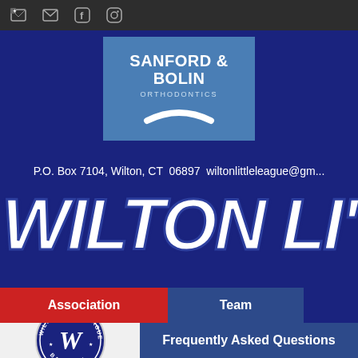Navigation bar with icons: star/home icon, email icon, Facebook icon, Instagram icon
[Figure (logo): Sanford & Bolin Orthodontics sponsor logo — blue rectangle with white text 'SANFORD & BOLIN' and 'ORTHODONTICS' with a white smile curve]
P.O. Box 7104, Wilton, CT  06897  wiltonlittleleague@gm...
WILTON LI'
Association  |  Team
[Figure (logo): Wilton Little League circular badge logo — dark blue circle with 'WILTON LITTLE LEAGUE' around top, 'BASEBALL' along bottom, and stylized 'W' in center]
Frequently Asked Questions